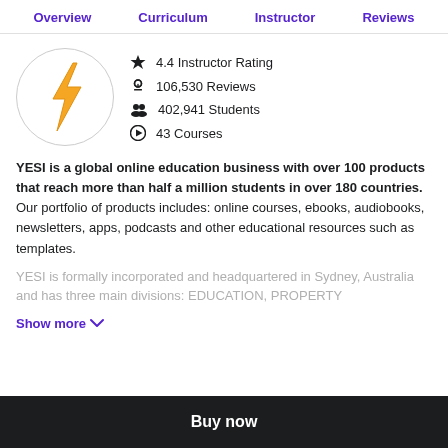Overview  Curriculum  Instructor  Reviews
[Figure (logo): Lightning bolt icon inside a circle, orange/yellow colored]
4.4 Instructor Rating
106,530 Reviews
402,941 Students
43 Courses
YESI is a global online education business with over 100 products that reach more than half a million students in over 180 countries. Our portfolio of products includes: online courses, ebooks, audiobooks, newsletters, apps, podcasts and other educational resources such as templates.
YESI is formally incorporated and headquartered in Sydney, Australia and has three main divisions: EDUCATION, PROPERTY
Show more ∨
Buy now